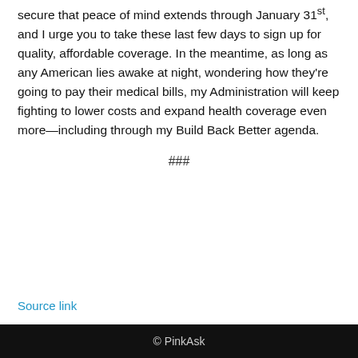secure that peace of mind extends through January 31st, and I urge you to take these last few days to sign up for quality, affordable coverage. In the meantime, as long as any American lies awake at night, wondering how they're going to pay their medical bills, my Administration will keep fighting to lower costs and expand health coverage even more—including through my Build Back Better agenda.
###
Source link
© PinkAsk